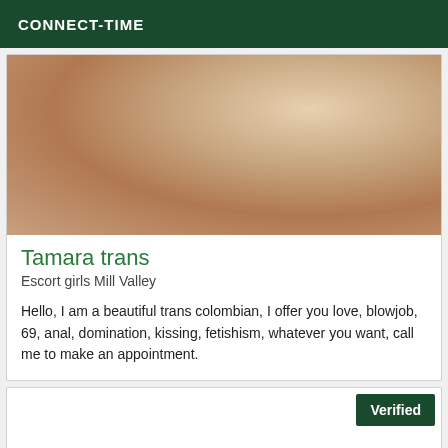CONNECT-TIME
[Figure (photo): Close-up photo used as listing image]
Tamara trans
Escort girls Mill Valley
Hello, I am a beautiful trans colombian, I offer you love, blowjob, 69, anal, domination, kissing, fetishism, whatever you want, call me to make an appointment.
Verified